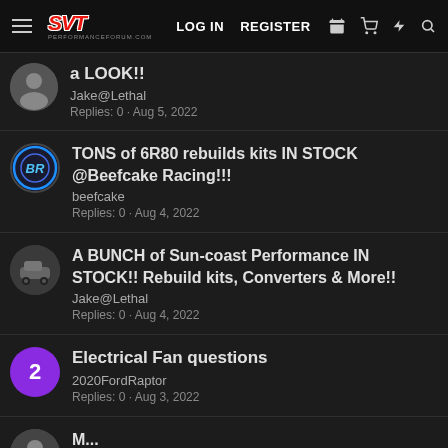SVT Performance - LOG IN  REGISTER
a LOOK!!
Jake@Lethal
Replies: 0 · Aug 5, 2022
TONS of 6R80 rebuilds kits IN STOCK @Beefcake Racing!!!
beefcake
Replies: 0 · Aug 4, 2022
A BUNCH of Sun-coast Performance IN STOCK!! Rebuild kits, Converters & More!!
Jake@Lethal
Replies: 0 · Aug 4, 2022
Electrical Fan questions
2020FordRaptor
Replies: 0 · Aug 3, 2022
M...